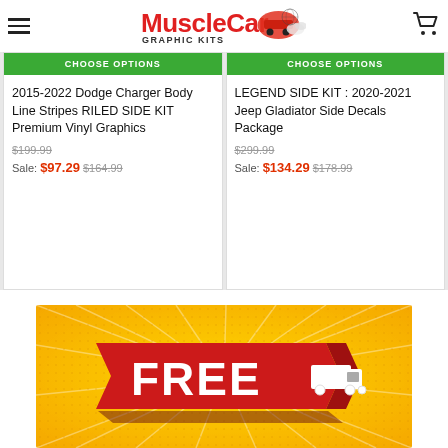MuscleCar Graphic Kits
2015-2022 Dodge Charger Body Line Stripes RILED SIDE KIT Premium Vinyl Graphics
$199.99
Sale: $97.29 $164.99
LEGEND SIDE KIT : 2020-2021 Jeep Gladiator Side Decals Package
$299.99
Sale: $134.29 $178.99
[Figure (illustration): Free shipping banner with yellow sunburst background and red 3D FREE badge with truck icon]